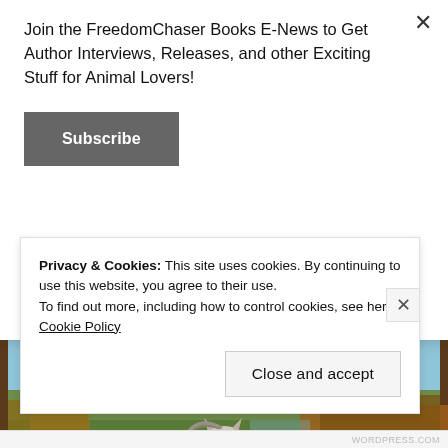Join the FreedomChaser Books E-News to Get Author Interviews, Releases, and other Exciting Stuff for Animal Lovers!
Subscribe
[Figure (photo): Book cover showing the word RANCH in brown letters at the top, with a background of countryside landscape including green fields, a village with white buildings, autumn-colored trees, and a grey/white horse facing the camera in the foreground with a halter on.]
Privacy & Cookies: This site uses cookies. By continuing to use this website, you agree to their use.
To find out more, including how to control cookies, see here: Cookie Policy
Close and accept